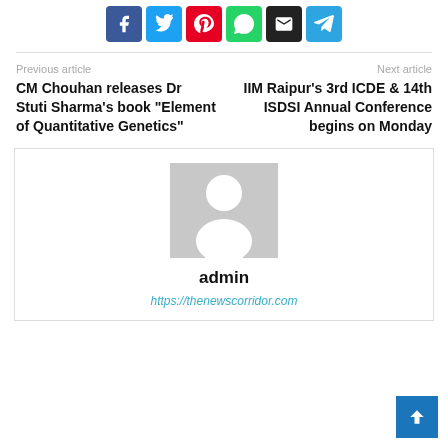[Figure (other): Social share buttons: Facebook (blue), Twitter (light blue), Pinterest (red), WhatsApp (green), Email (black), Telegram (blue)]
Previous article
CM Chouhan releases Dr Stuti Sharma's book “Element of Quantitative Genetics”
Next article
IIM Raipur’s 3rd ICDE & 14th ISDSI Annual Conference begins on Monday
[Figure (illustration): Generic grey avatar placeholder image showing a silhouette of a person (head and shoulders)]
admin
https://thenewscorridor.com